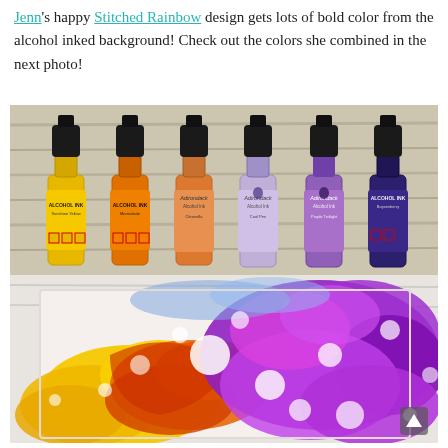Jenn's happy Stitched Rainbow design gets lots of bold color from the alcohol inked background! Check out the colors she combined in the next photo!
[Figure (photo): Top half: Six alcohol ink bottles lined up on a wood surface — yellow, orange/amber, orange, lavender, purple, and dark purple/navy. Labels read 'ALCOHOL INK' (Ranger) and 'Adirondack Alcohol Ink'. Bottom half: An alcohol ink artwork on tile showing bold flows of yellow, orange, red, purple and magenta colors blended together.]